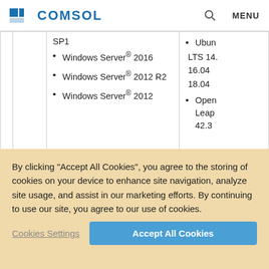COMSOL | MENU
|  |  | SP1
• Windows Server® 2016
• Windows Server® 2012 R2
• Windows Server® 2012 | • Ubuntu LTS 14. 16.04 18.04
• OpenSUSE Leap 42.3 |
By clicking "Accept All Cookies", you agree to the storing of cookies on your device to enhance site navigation, analyze site usage, and assist in our marketing efforts. By continuing to use our site, you agree to our use of cookies.
Cookies Settings
Accept All Cookies